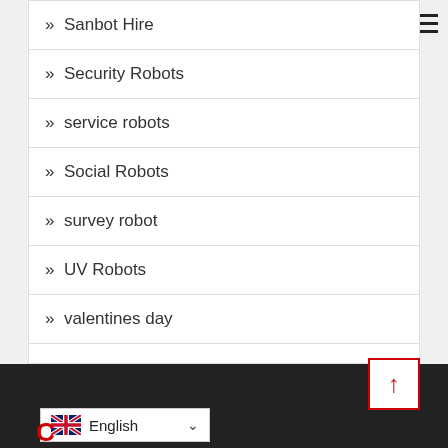» Sanbot Hire
» Security Robots
» service robots
» Social Robots
» survey robot
» UV Robots
» valentines day
English language selector, back to top button